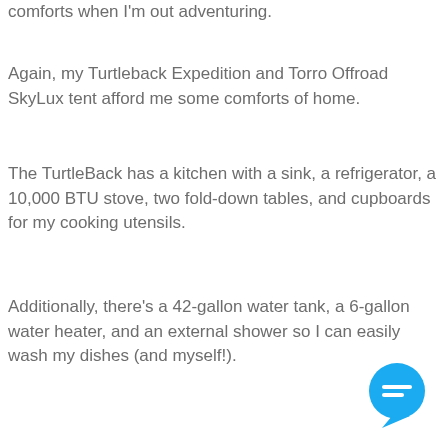comforts when I'm out adventuring.
Again, my Turtleback Expedition and Torro Offroad SkyLux tent afford me some comforts of home.
The TurtleBack has a kitchen with a sink, a refrigerator, a 10,000 BTU stove, two fold-down tables, and cupboards for my cooking utensils.
Additionally, there’s a 42-gallon water tank, a 6-gallon water heater, and an external shower so I can easily wash my dishes (and myself!).
[Figure (illustration): Blue chat bubble icon with two horizontal lines representing text, located in the bottom-right corner.]